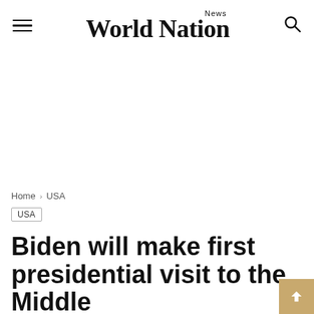World Nation News
[Figure (other): Large white/blank advertisement area]
Home › USA
USA
Biden will make first presidential visit to the Middle